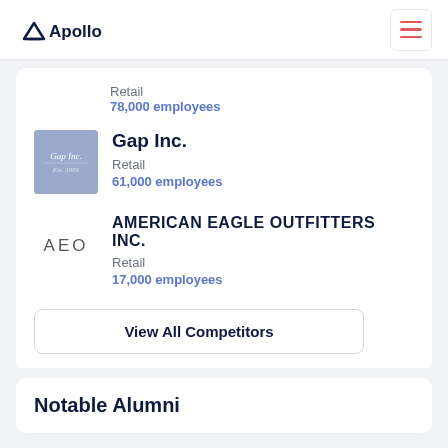Apollo
Retail
78,000 employees
Gap Inc.
Retail
61,000 employees
AMERICAN EAGLE OUTFITTERS INC.
Retail
17,000 employees
View All Competitors
Notable Alumni